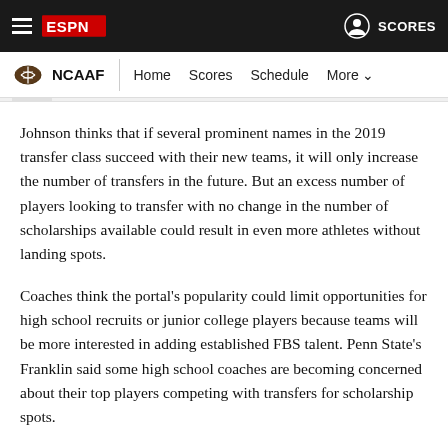ESPN NCAAF | Home Scores Schedule More
Johnson thinks that if several prominent names in the 2019 transfer class succeed with their new teams, it will only increase the number of transfers in the future. But an excess number of players looking to transfer with no change in the number of scholarships available could result in even more athletes without landing spots.
Coaches think the portal's popularity could limit opportunities for high school recruits or junior college players because teams will be more interested in adding established FBS talent. Penn State's Franklin said some high school coaches are becoming concerned about their top players competing with transfers for scholarship spots.